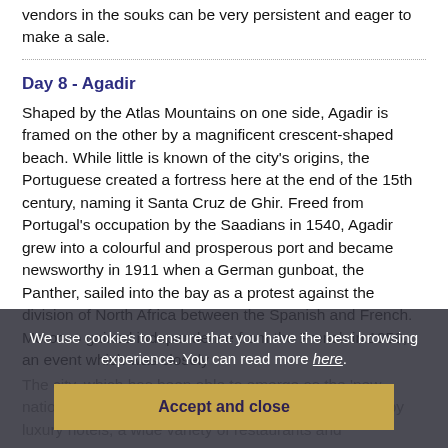vendors in the souks can be very persistent and eager to make a sale.
Day 8 - Agadir
Shaped by the Atlas Mountains on one side, Agadir is framed on the other by a magnificent crescent-shaped beach. While little is known of the city's origins, the Portuguese created a fortress here at the end of the 15th century, naming it Santa Cruz de Ghir. Freed from Portugal's occupation by the Saadians in 1540, Agadir grew into a colourful and prosperous port and became newsworthy in 1911 when a German gunboat, the Panther, sailed into the bay as a protest against the division of North Africa between the Spanish and French. Morocco gained independence from the French in 1956, an event which was closely
The city, which has been able to emerge as the 'new nation', is blessed by fine sandy beaches overlooked by luxury hotels, a wide variety of restaurants and
We use cookies to ensure that you have the best browsing experience. You can read more here.